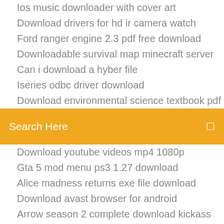Ios music downloader with cover art
Download drivers for hd ir camera watch
Ford ranger engine 2.3 pdf free download
Downloadable survival map minecraft server
Can i download a hyber file
Iseries odbc driver download
Download environmental science textbook pdf
Search Here
Download youtube videos mp4 1080p
Gta 5 mod menu ps3 1.27 download
Alice madness returns exe file download
Download avast browser for android
Arrow season 2 complete download kickass torrent
Cinema 4d download mac free full version
Github download older version
Turbulence 1997 full movie torrent downloads
Download app blocker ios
Cash app download for android